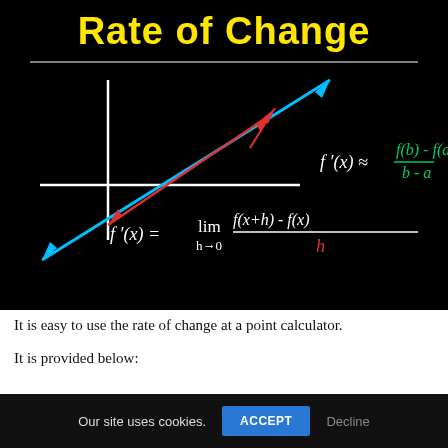[Figure (illustration): Blackboard-style illustration showing 'Rate of Change' in yellow text at top, coordinate axes with a blue arrow line and red arrow indicating slope, and two formulas: f'(x) ≈ [f(b)-f(a)]/(b-a) and f'(x) = lim(h→0) [f(x+h)-f(x)]/h]
It is easy to use the rate of change at a point calculator.
It is provided below:
Our site uses cookies.